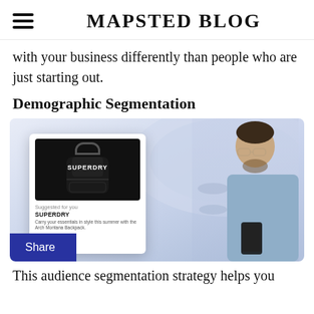MAPSTED BLOG
with your business differently than people who are just starting out.
Demographic Segmentation
[Figure (photo): A man with glasses looking at his phone, with a product card overlay showing a Superdry backpack with text 'Suggested for you SUPERDRY Carry your essentials in style this summer with the Arch Montana Backpack.' and a Shop button. Background shows a shoe store display.]
Share
This audience segmentation strategy helps you